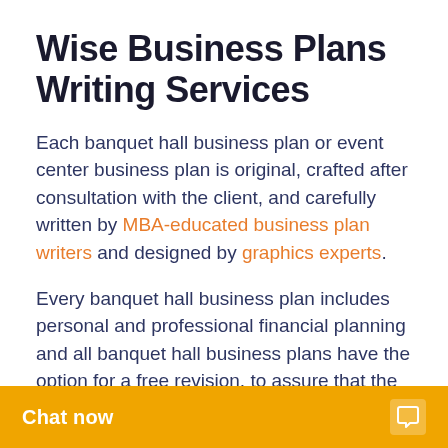Wise Business Plans Writing Services
Each banquet hall business plan or event center business plan is original, crafted after consultation with the client, and carefully written by MBA-educated business plan writers and designed by graphics experts.
Every banquet hall business plan includes personal and professional financial planning and all banquet hall business plans have the option for a free revision, to assure that the finished product is correct and effectively meets the requirements of